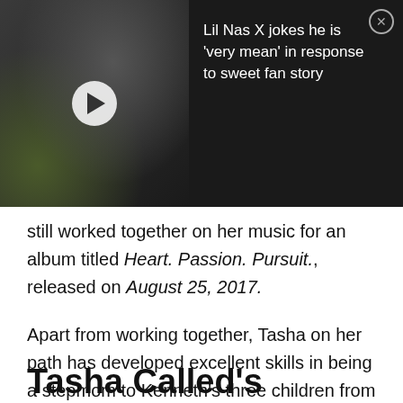[Figure (screenshot): Video overlay bar with thumbnail of Lil Nas X in feathered costume, play button, and title text on dark background with close (X) button]
still worked together on her music for an album titled Heart. Passion. Pursuit., released on August 25, 2017.
Apart from working together, Tasha on her path has developed excellent skills in being a stepmom to Kenneth's three children from his previous marriage.
Also read: Mica Burton Age, Dad, and Girlfriend
Tasha Called's